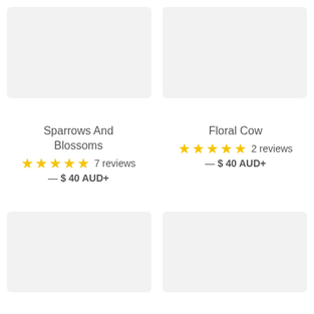[Figure (photo): Top-left product image placeholder, light gray background]
[Figure (photo): Top-right product image placeholder, light gray background]
Sparrows And Blossoms
★★★★★ 7 reviews
— $ 40 AUD+
Floral Cow
★★★★★ 2 reviews
— $ 40 AUD+
[Figure (photo): Bottom-left product image placeholder, light gray background]
[Figure (photo): Bottom-right product image placeholder, light gray background]